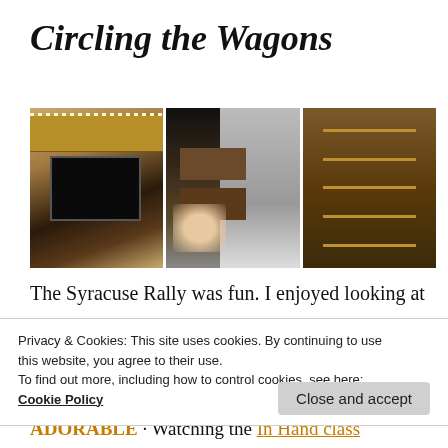Circling the Wagons
[Figure (photo): Three photos of RV interior: left shows living area with TV and cabinets with LED strip lighting, center shows storage compartment with boxes and a hand opening a door, right shows wooden shelving unit]
The Syracuse Rally was fun. I enjoyed looking at
Privacy & Cookies: This site uses cookies. By continuing to use this website, you agree to their use.
To find out more, including how to control cookies, see here:
Cookie Policy
Close and accept
ADORABLE · Watching the In Hand class